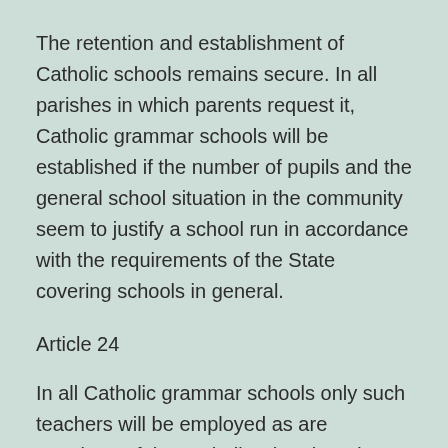The retention and establishment of Catholic schools remains secure. In all parishes in which parents request it, Catholic grammar schools will be established if the number of pupils and the general school situation in the community seem to justify a school run in accordance with the requirements of the State covering schools in general.
Article 24
In all Catholic grammar schools only such teachers will be employed as are members of the Catholic Church and guarantee the fulfilment of the special requirements of a Catholic School.
Within the general arrangements for the training of